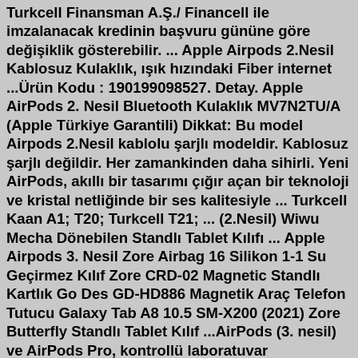Turkcell Finansman A.Ş./ Financell ile imzalanacak kredinin başvuru gününe göre değişiklik gösterebilir. ... Apple Airpods 2.Nesil Kablosuz Kulaklık, ışık hızındaki Fiber internet ...Ürün Kodu : 190199098527. Detay. Apple AirPods 2. Nesil Bluetooth Kulaklık MV7N2TU/A (Apple Türkiye Garantili) Dikkat: Bu model Airpods 2.Nesil kablolu şarjlı modeldir. Kablosuz şarjlı değildir. Her zamankinden daha sihirli. Yeni AirPods, akıllı bir tasarımı çığır açan bir teknoloji ve kristal netliğinde bir ses kalitesiyle ... Turkcell Kaan A1; T20; Turkcell T21; ... (2.Nesil) Wiwu Mecha Dönebilen Standlı Tablet Kılıfı ... Apple Airpods 3. Nesil Zore Airbag 16 Silikon 1-1 Su Geçirmez Kılıf Zore CRD-02 Magnetic Standlı Kartlık Go Des GD-HD886 Magnetik Araç Telefon Tutucu Galaxy Tab A8 10.5 SM-X200 (2021) Zore Butterfly Standlı Tablet Kılıf ...AirPods (3. nesil) ve AirPods Pro, kontrollü laboratuvar koşullarında test edilmiş ve 60529 sayılı IEC standardı kapsamında IPX4 derecesini elde etmiştir. Tere ve suya dayanıklılık, kalıcı özellikler değildir.